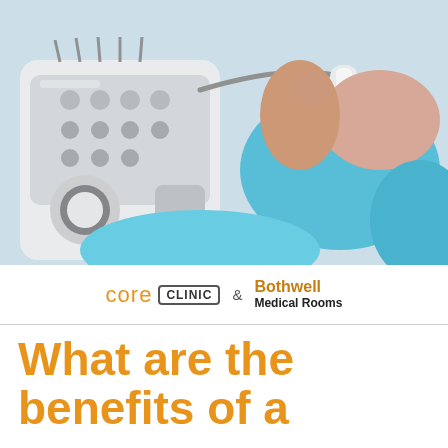[Figure (photo): Close-up photo of a patient lying on a medical table wearing a blue garment, while a medical professional uses an ultrasound probe/transducer. An ultrasound machine with buttons and dials is visible in the foreground.]
[Figure (logo): core CLINIC & Bothwell Medical Rooms logo]
What are the benefits of a